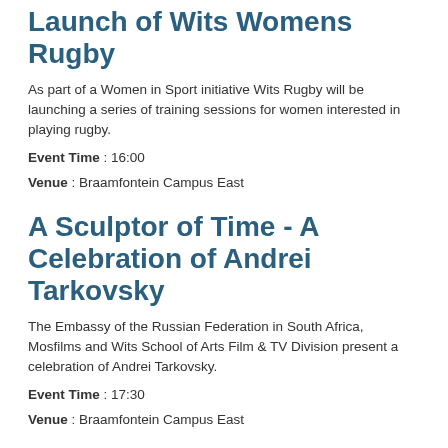Launch of Wits Womens Rugby
As part of a Women in Sport initiative Wits Rugby will be launching a series of training sessions for women interested in playing rugby.
Event Time : 16:00
Venue : Braamfontein Campus East
A Sculptor of Time - A Celebration of Andrei Tarkovsky
The Embassy of the Russian Federation in South Africa, Mosfilms and Wits School of Arts Film & TV Division present a celebration of Andrei Tarkovsky.
Event Time : 17:30
Venue : Braamfontein Campus East